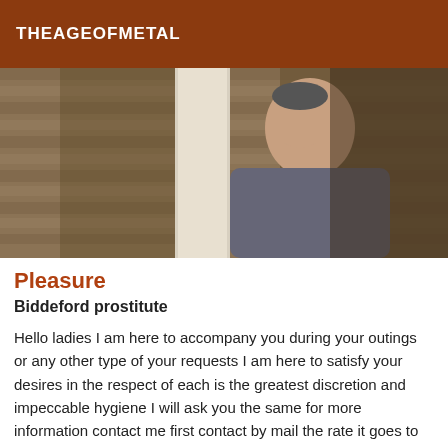THEAGEOFMETAL
[Figure (photo): A man leaning against a doorframe in what appears to be a wooden-paneled room, photo taken at an angle]
Pleasure
Biddeford prostitute
Hello ladies I am here to accompany you during your outings or any other type of your requests I am here to satisfy your desires in the respect of each is the greatest discretion and impeccable hygiene I will ask you the same for more information contact me first contact by mail the rate it goes to define according to your desires I can receive where to move with the pleasure of